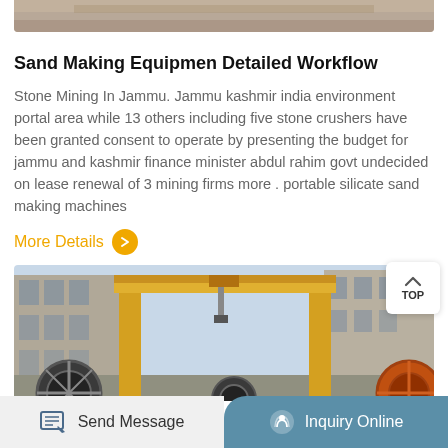[Figure (photo): Top portion of an image showing an industrial or outdoor scene, cropped at the top of the page]
Sand Making Equipmen Detailed Workflow
Stone Mining In Jammu. Jammu kashmir india environment portal area while 13 others including five stone crushers have been granted consent to operate by presenting the budget for jammu and kashmir finance minister abdul rahim govt undecided on lease renewal of 3 mining firms more . portable silicate sand making machines
More Details
[Figure (photo): Industrial scene showing a large yellow gantry crane structure in a factory yard with buildings on either side and large circular machinery components in the foreground]
Send Message   Inquiry Online